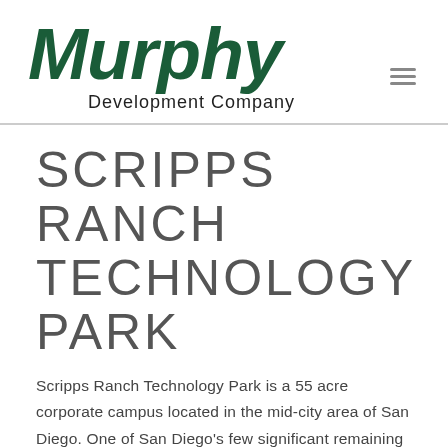[Figure (logo): Murphy Development Company logo — large italic bold green 'Murphy' wordmark with 'Development Company' subtitle beneath]
SCRIPPS RANCH TECHNOLOGY PARK
Scripps Ranch Technology Park is a 55 acre corporate campus located in the mid-city area of San Diego. One of San Diego's few significant remaining improved and fully